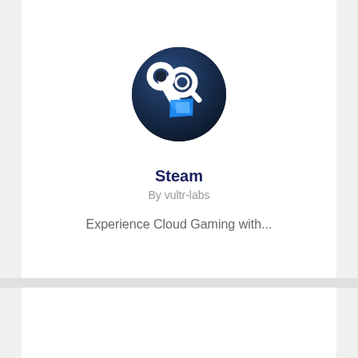[Figure (logo): Steam app logo: dark navy circle with wrench and magnifier icons, blue rocket/arrow accent]
Steam
By vultr-labs
Experience Cloud Gaming with...
[Figure (logo): Partially visible green ring logo with blue accent at bottom, on white card]